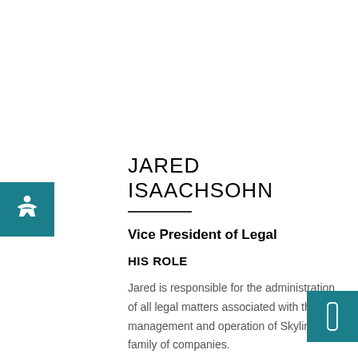JARED ISAACHSOHN
Vice President of Legal
HIS ROLE
Jared is responsible for the administration of all legal matters associated with the management and operation of Skyline's family of companies.
HIS BACKGROUND AND EXPERIENCE